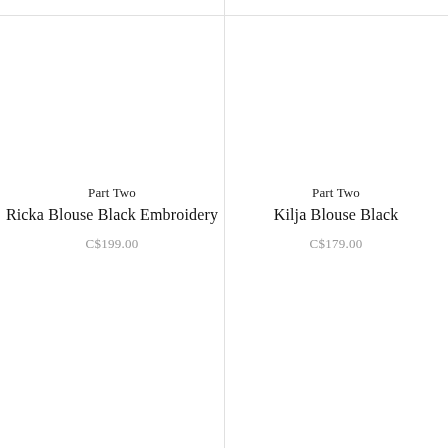Part Two
Ricka Blouse Black Embroidery
C$199.00
Part Two
Kilja Blouse Black
C$179.00